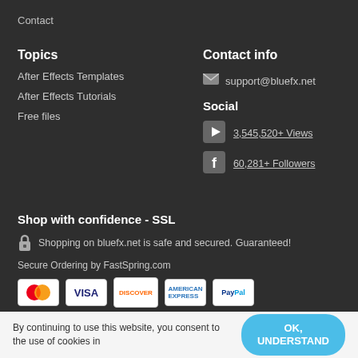Contact
Topics
Contact info
support@bluefx.net
Social
3,545,520+ Views
60,281+ Followers
After Effects Templates
After Effects Tutorials
Free files
Shop with confidence - SSL
Shopping on bluefx.net is safe and secured. Guaranteed!
Secure Ordering by FastSpring.com
[Figure (illustration): Payment method icons: Mastercard, Visa, Discover, American Express, PayPal]
By continuing to use this website, you consent to the use of cookies in
OK, UNDERSTAND